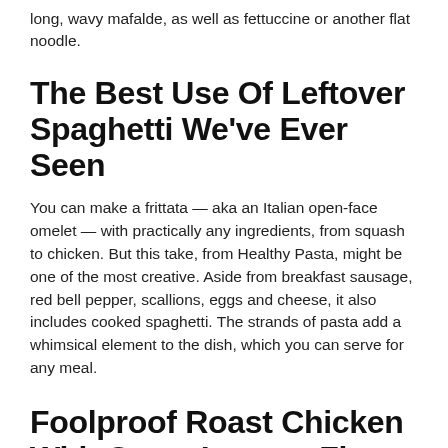long, wavy mafalde, as well as fettuccine or another flat noodle.
The Best Use Of Leftover Spaghetti We've Ever Seen
You can make a frittata — aka an Italian open-face omelet — with practically any ingredients, from squash to chicken. But this take, from Healthy Pasta, might be one of the most creative. Aside from breakfast sausage, red bell pepper, scallions, eggs and cheese, it also includes cooked spaghetti. The strands of pasta add a whimsical element to the dish, which you can serve for any meal.
Foolproof Roast Chicken With Crazy Intense Flavor
Supercrispy skin, juicy meat and a quick cooking time are all great reasons to spatchcock (aka butterfly) a chicken. There's